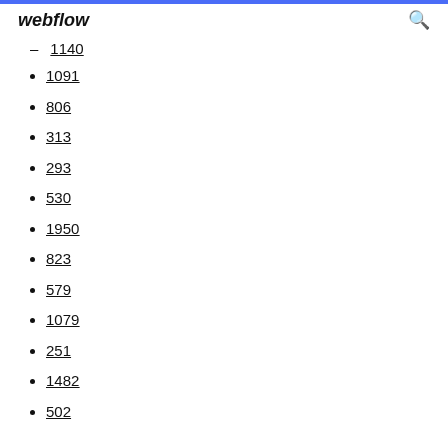webflow
1140
1091
806
313
293
530
1950
823
579
1079
251
1482
502